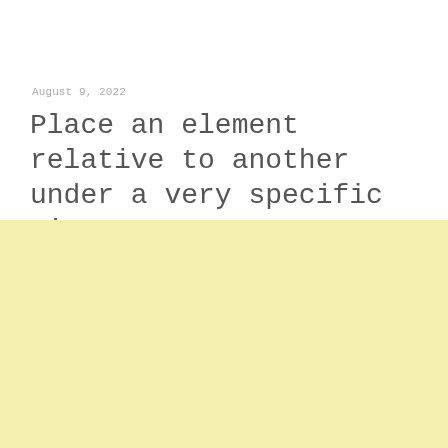August 9, 2022
Place an element relative to another under a very specific circumstance
[Figure (other): Large pale yellow rectangular block filling the bottom portion of the page]